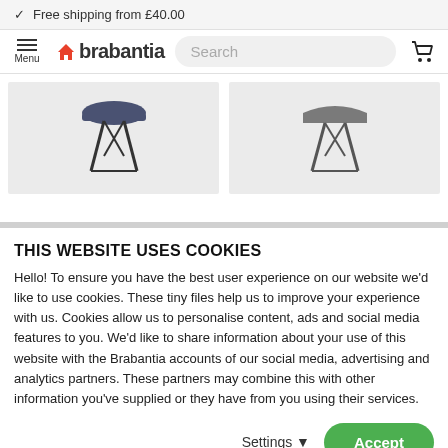✓ Free shipping from £40.00
[Figure (screenshot): Brabantia website navigation bar with hamburger menu, Brabantia logo, search box, and shopping cart icon]
[Figure (photo): Two product images on grey background — ironing boards shown from front view, one navy/dark blue and one grey]
THIS WEBSITE USES COOKIES
Hello! To ensure you have the best user experience on our website we'd like to use cookies. These tiny files help us to improve your experience with us. Cookies allow us to personalise content, ads and social media features to you. We'd like to share information about your use of this website with the Brabantia accounts of our social media, advertising and analytics partners. These partners may combine this with other information you've supplied or they have from you using their services.
Settings  Accept